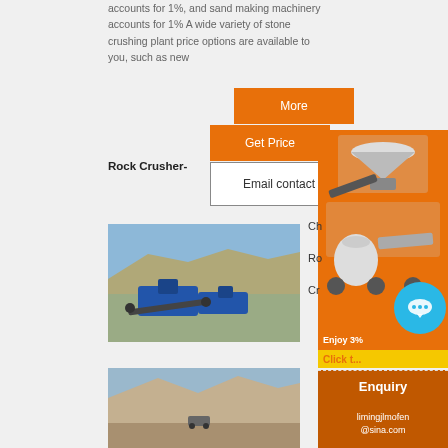accounts for 1%, and sand making machinery accounts for 1% A wide variety of stone crushing plant price options are available to you, such as new
[Figure (infographic): Three orange/white call-to-action buttons: 'More', 'Get Price', and 'Email contact' (white with border)]
Rock Crusher-
Ch
Ro
Cr
[Figure (photo): Open-cast quarry with blue mobile crushing/screening equipment in the foreground and rocky cliff face in background]
[Figure (photo): Quarry scene with mounds of crushed material and machinery]
[Figure (illustration): Side panel showing orange background with industrial rock crusher and mill machinery images]
Enjoy 3%
Click t...
Enquiry
limingjlmofen@sina.com